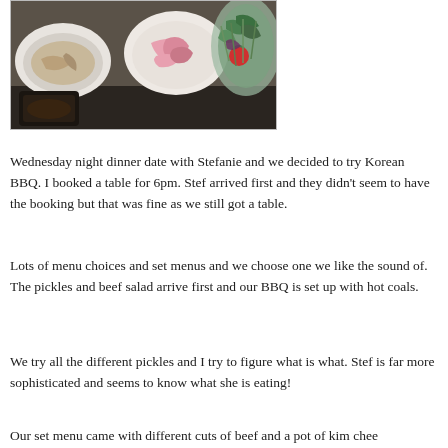[Figure (photo): Food photo showing bowls of Korean BBQ side dishes including pickled vegetables (pink pickled radish/onions), a meat or vegetable dish, and a fresh salad with greens and tomato on a dark table setting.]
Wednesday night dinner date with Stefanie and we decided to try Korean BBQ. I booked a table for 6pm. Stef arrived first and they didn't seem to have the booking but that was fine as we still got a table.
Lots of menu choices and set menus and we choose one we like the sound of. The pickles and beef salad arrive first and our BBQ is set up with hot coals.
We try all the different pickles and I try to figure what is what. Stef is far more sophisticated and seems to know what she is eating!
Our set menu came with different cuts of beef and a pot of kim chee